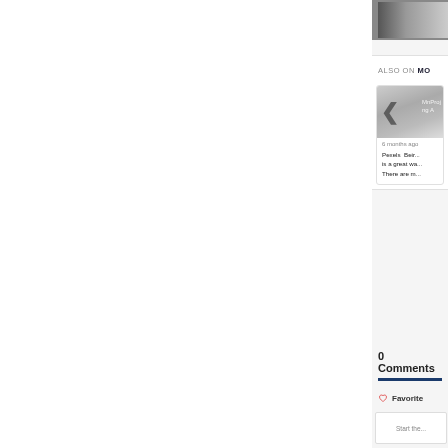[Figure (photo): Partial view of a photo strip at the top right corner, showing dark and light toned images]
ALSO ON MO
[Figure (screenshot): Card with a gray gradient background image showing a left chevron arrow icon and partial text 'MnProj' and 'ng A']
6 months ago
Pexels  Beir... is a great wa... There are m...
0 Comments
Favorite
Start the...